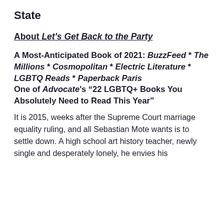State
About Let's Get Back to the Party
A Most-Anticipated Book of 2021: BuzzFeed * The Millions * Cosmopolitan * Electric Literature * LGBTQ Reads * Paperback Paris
One of Advocate's “22 LGBTQ+ Books You Absolutely Need to Read This Year”
It is 2015, weeks after the Supreme Court marriage equality ruling, and all Sebastian Mote wants is to settle down. A high school art history teacher, newly single and desperately lonely, he envies his